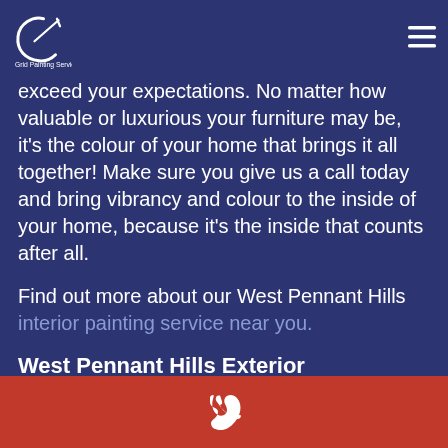Grid Painting Services
exceed your expectations. No matter how valuable or luxurious your furniture may be, it's the colour of your home that brings it all together! Make sure you give us a call today and bring vibrancy and colour to the inside of your home, because it's the inside that counts after all.
Find out more about our West Pennant Hills interior painting service near you.
West Pennant Hills Exterior
[phone icon]